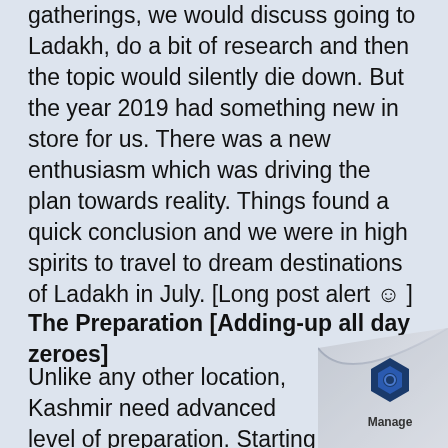gatherings, we would discuss going to Ladakh, do a bit of research and then the topic would silently die down. But the year 2019 had something new in store for us. There was a new enthusiasm which was driving the plan towards reality. Things found a quick conclusion and we were in high spirits to travel to dream destinations of Ladakh in July. [Long post alert ☺ ]
The Preparation [Adding-up all day zeroes]
Unlike any other location, Kashmir need advanced level of preparation. Starting
[Figure (logo): Page curl effect in bottom-right corner with a blue hexagonal logo and the word 'Manage' underneath]